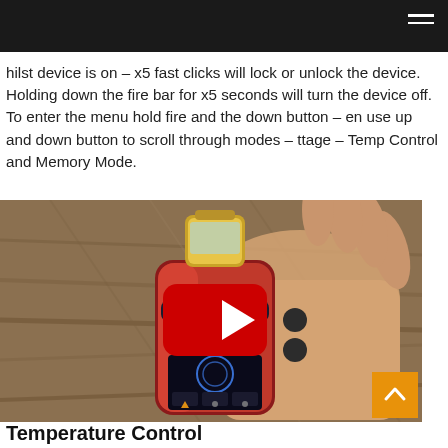hilst device is on – x5 fast clicks will lock or unlock the device. Holding down the fire bar for x5 seconds will turn the device off. To enter the menu hold fire and the down button – en use up and down button to scroll through modes – ttage – Temp Control and Memory Mode.
[Figure (screenshot): Video thumbnail showing a hand holding a SMOK vape device (red mod with gold tank) against a wooden floor background, with a YouTube play button overlay]
Temperature Control